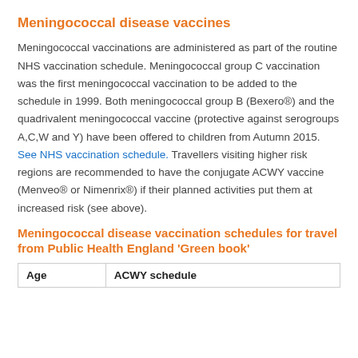Meningococcal disease vaccines
Meningococcal vaccinations are administered as part of the routine NHS vaccination schedule. Meningococcal group C vaccination was the first meningococcal vaccination to be added to the schedule in 1999. Both meningococcal group B (Bexero®) and the quadrivalent meningococcal vaccine (protective against serogroups A,C,W and Y) have been offered to children from Autumn 2015. See NHS vaccination schedule. Travellers visiting higher risk regions are recommended to have the conjugate ACWY vaccine (Menveo® or Nimenrix®) if their planned activities put them at increased risk (see above).
Meningococcal disease vaccination schedules for travel from Public Health England 'Green book'
| Age | ACWY schedule |
| --- | --- |